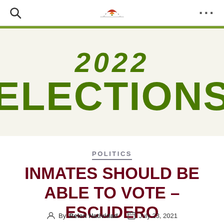2022 ELECTIONS
[Figure (logo): News website logo with colorful arc/umbrella icon at top center of navigation bar]
POLITICS
INMATES SHOULD BE ABLE TO VOTE – ESCUDERO
By Belen Natividad   July 23, 2021